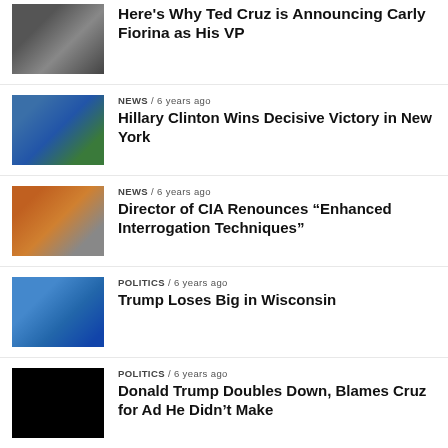Here’s Why Ted Cruz is Announcing Carly Fiorina as His VP
NEWS / 6 years ago
Hillary Clinton Wins Decisive Victory in New York
NEWS / 6 years ago
Director of CIA Renounces “Enhanced Interrogation Techniques”
POLITICS / 6 years ago
Trump Loses Big in Wisconsin
POLITICS / 6 years ago
Donald Trump Doubles Down, Blames Cruz for Ad He Didn’t Make
PAGE 1 OF 2  1  2